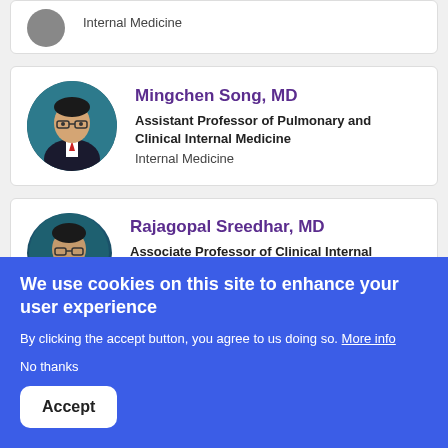[Figure (photo): Partial view of a doctor profile card with circular avatar photo (cropped at top of page) showing Internal Medicine text]
Internal Medicine
Mingchen Song, MD
Assistant Professor of Pulmonary and Clinical Internal Medicine
Internal Medicine
[Figure (photo): Circular avatar photo of Mingchen Song, MD]
Rajagopal Sreedhar, MD
Associate Professor of Clinical Internal
[Figure (photo): Circular avatar photo of Rajagopal Sreedhar, MD (partially visible)]
We use cookies on this site to enhance your user experience
By clicking the accept button, you agree to us doing so. More info
No thanks
Accept